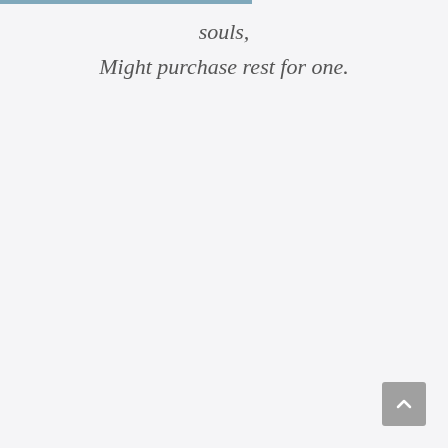souls,
Might purchase rest for one.